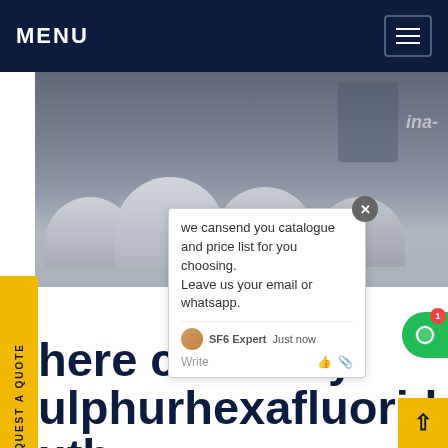MENU
[Figure (photo): Industrial gas storage tanks/cylinders, machinery with pipes and metal components, industrial facility]
we cansend you catalogue and price list for you choosing. Leave us your email or whatsapp.
Where can I buy sulphur hexafluoride in South America
If you are in need of any packaged chemicals, including sulphur hexafluoride, don’t hesitate to get them from Afrox. We also stock refrigerants and other gases to aid in every process. We are the leading gas supplier in South Africa. Get price...